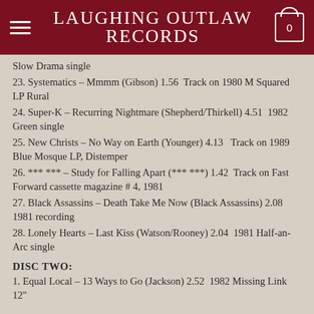LAUGHING OUTLAW RECORDS
Slow Drama single
23. Systematics – Mmmm (Gibson) 1.56  Track on 1980 M Squared LP Rural
24. Super-K – Recurring Nightmare (Shepherd/Thirkell) 4.51  1982 Green single
25. New Christs – No Way on Earth (Younger) 4.13   Track on 1989 Blue Mosque LP, Distemper
26. *** *** – Study for Falling Apart (*** ***) 1.42  Track on Fast Forward cassette magazine # 4, 1981
27. Black Assassins – Death Take Me Now (Black Assassins) 2.08  1981 recording
28. Lonely Hearts – Last Kiss (Watson/Rooney) 2.04  1981 Half-an-Arc single
DISC TWO:
1. Equal Local – 13 Ways to Go (Jackson) 2.52  1982 Missing Link 12"